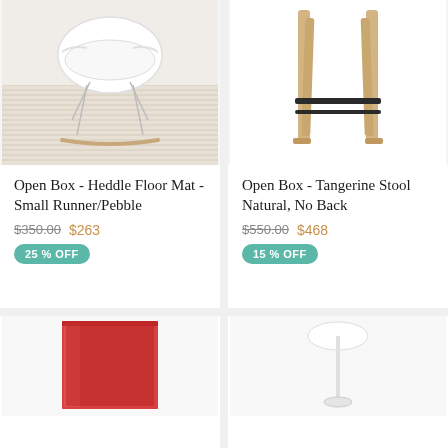[Figure (photo): White Eames-style rocking chair on a striped rug against a white wall]
Open Box - Heddle Floor Mat - Small Runner/Pebble
$350.00 $263
25 % OFF
[Figure (photo): Natural wood bar stool with no back and black metal footrest]
Open Box - Tangerine Stool Natural, No Back
$550.00 $468
15 % OFF
[Figure (photo): Red translucent square glass vase]
[Figure (photo): White floor lamp with dome shade on a thin stem]